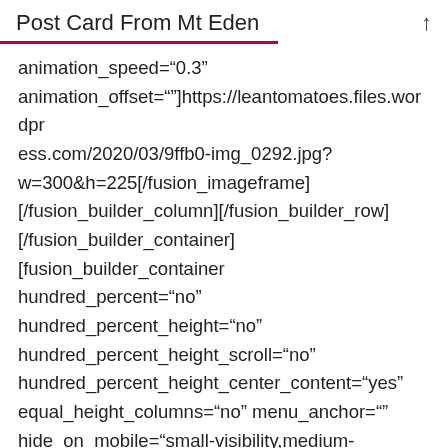Post Card From Mt Eden
animation_speed="0.3" animation_offset=""]https://leantomatoes.files.wordpress.com/2020/03/9ffb0-img_0292.jpg?w=300&h=225[/fusion_imageframe][/fusion_builder_column][/fusion_builder_row][/fusion_builder_container][fusion_builder_container hundred_percent="no" hundred_percent_height="no" hundred_percent_height_scroll="no" hundred_percent_height_center_content="yes" equal_height_columns="no" menu_anchor="" hide_on_mobile="small-visibility,medium-visibility,large-visibility" class="" id="" background_color="" background_image="" background_position="center center"